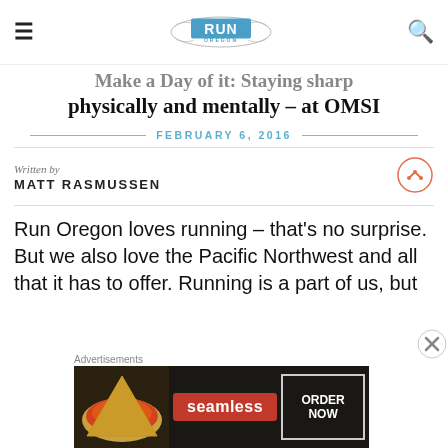Run Oregon (logo)
Make a Day of it: Staying sharp physically and mentally – at OMSI
FEBRUARY 6, 2016
Written by
MATT RASMUSSEN
Run Oregon loves running – that's no surprise. But we also love the Pacific Northwest and all that it has to offer. Running is a part of us, but
[Figure (other): Seamless food delivery advertisement: pizza image on left, red Seamless logo in center, ORDER NOW button on right, dark background]